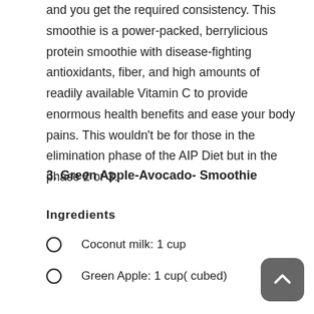and you get the required consistency. This smoothie is a power-packed, berrylicious protein smoothie with disease-fighting antioxidants, fiber, and high amounts of readily available Vitamin C to provide enormous health benefits and ease your body pains. This wouldn't be for those in the elimination phase of the AIP Diet but in the phase 2 or 3.
3. Green Apple-Avocado- Smoothie
Ingredients
Coconut milk: 1 cup
Green Apple: 1 cup( cubed)
Avocado: 1 cup( peeled& pitted)
Lemon juice: 1tbsp
Raw Honey: 2tbsp